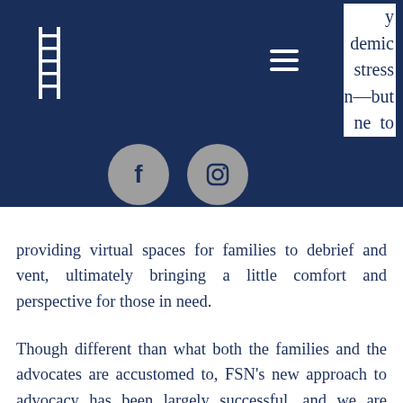demic stress n—but ne to
[Figure (logo): Dark navy header bar with ladder logo icon on left, hamburger menu icon in center, and Facebook and Instagram social media icons in gray circles]
providing virtual spaces for families to debrief and vent, ultimately bringing a little comfort and perspective for those in need.
Though different than what both the families and the advocates are accustomed to, FSN's new approach to advocacy has been largely successful, and we are grateful to have such dedicated team members at Hopeloft who are committed to serving our community no matter the circumstances.